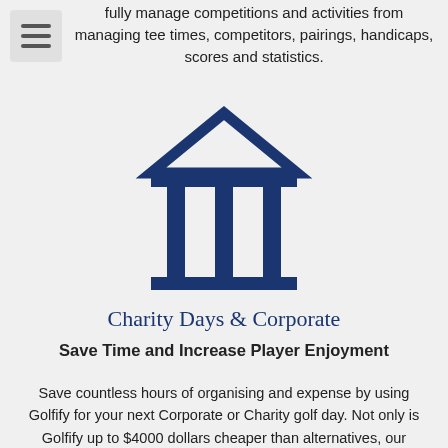fully manage competitions and activities from managing tee times, competitors, pairings, handicaps, scores and statistics.
[Figure (illustration): A dark navy blue icon of a classical building/bank with a triangular pediment roof, two horizontal bands and three vertical columns, with a horizontal base bar.]
Charity Days & Corporate
Save Time and Increase Player Enjoyment
Save countless hours of organising and expense by using Golfify for your next Corporate or Charity golf day. Not only is Golfify up to $4000 dollars cheaper than alternatives, our cloud technology is backed by Google's Cloud Infrastructure, meaning you can rely on